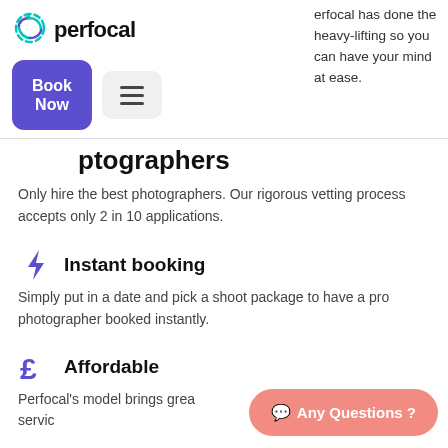[Figure (logo): Perfocal logo with teal/blue dashed circular arrow icon and bold 'perfocal' text]
perfocal has done the heavy-lifting so you can have your mind at ease.
[Figure (screenshot): Book Now button (purple) and hamburger menu button]
photographers
Only hire the best photographers. Our rigorous vetting process accepts only 2 in 10 applications.
Instant booking
Simply put in a date and pick a shoot package to have a pro photographer booked instantly.
Affordable
Perfocal's model brings great market rates for similar service
[Figure (other): Any Questions? chat button in salmon/coral pink]